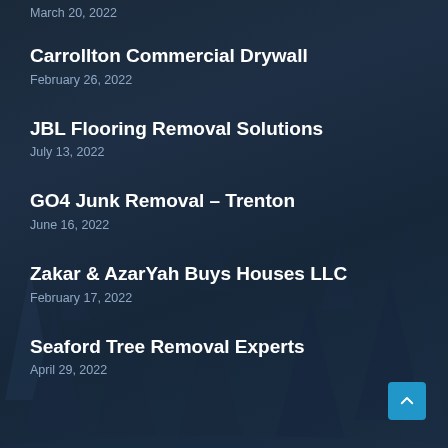March 20, 2022
Carrollton Commercial Drywall
February 26, 2022
JBL Flooring Removal Solutions
July 13, 2022
GO4 Junk Removal – Trenton
June 16, 2022
Zakar & AzarYah Buys Houses LLC
February 17, 2022
Seaford Tree Removal Experts
April 29, 2022